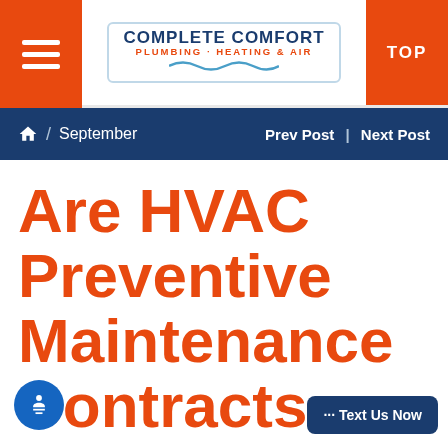Complete Comfort Plumbing Heating & Air | TOP
Home / September | Prev Post | Next Post
Are HVAC Preventive Maintenance Contracts Worth It?